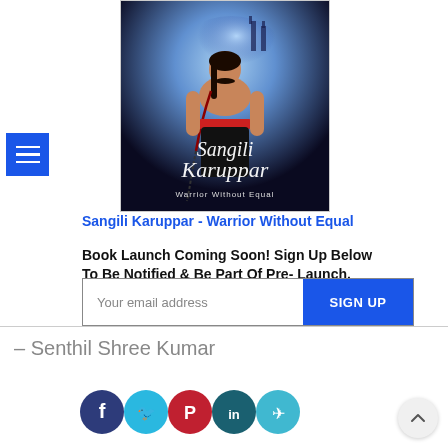[Figure (illustration): Menu/hamburger button icon with three white horizontal lines on a blue square background]
[Figure (illustration): Book cover for Sangili Karuppar - Warrior Without Equal, showing a muscular warrior figure with beads, set against a dramatic blue/dark fantasy background, with the title in decorative script and subtitle 'Warrior Without Equal']
Sangili Karuppar - Warrior Without Equal
Book Launch Coming Soon! Sign Up Below To Be Notified & Be Part Of Pre- Launch.
Your email address    SIGN UP
– Senthil Shree Kumar
[Figure (infographic): Social media share icons: Facebook (dark blue), Twitter (cyan), Pinterest (red), LinkedIn (teal), Telegram (cyan) — all circular]